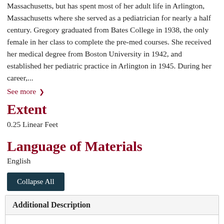Massachusetts, but has spent most of her adult life in Arlington, Massachusetts where she served as a pediatrician for nearly a half century. Gregory graduated from Bates College in 1938, the only female in her class to complete the pre-med courses. She received her medical degree from Boston University in 1942, and established her pediatric practice in Arlington in 1945. During her career,...
See more ›
Extent
0.25 Linear Feet
Language of Materials
English
Collapse All
Additional Description